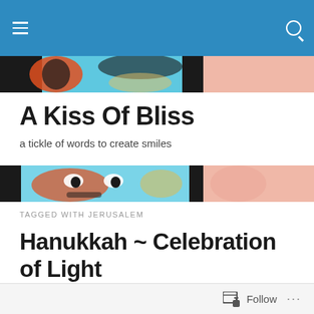Navigation bar with hamburger menu and search icon
[Figure (illustration): Colorful illustrated header image band showing pop-art style faces in blue, pink, and black tones — top portion]
A Kiss Of Bliss
a tickle of words to create smiles
[Figure (illustration): Colorful illustrated header image band showing pop-art style faces in blue, pink, and black tones — bottom portion]
TAGGED WITH JERUSALEM
Hanukkah ~ Celebration of Light
[Figure (illustration): Close-up illustration of yellow and orange flame or flower-like textured artwork with red accents]
Follow  ...